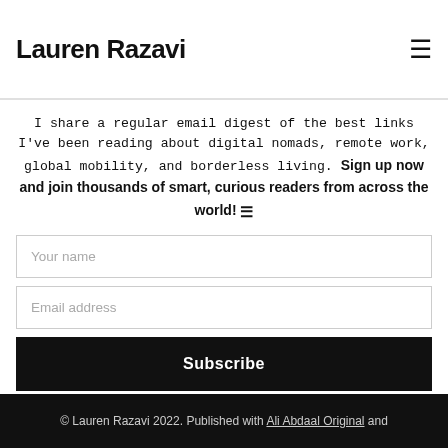Lauren Razavi
I share a regular email digest of the best links I've been reading about digital nomads, remote work, global mobility, and borderless living. Sign up now and join thousands of smart, curious readers from across the world! ☰
Your name
Email address
Subscribe
© Lauren Razavi 2022. Published with Ali Abdaal Original and